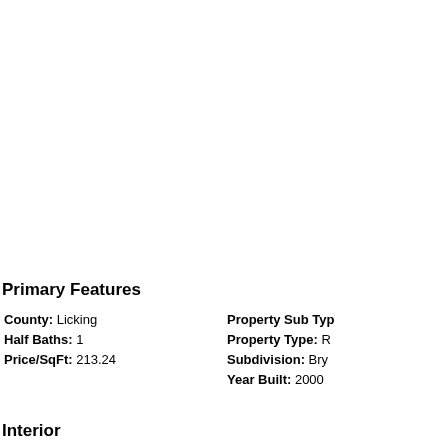Primary Features
County: Licking
Half Baths: 1
Price/SqFt: 213.24
Property Sub Type: R
Property Type: R
Subdivision: Bry
Year Built: 2000
Interior